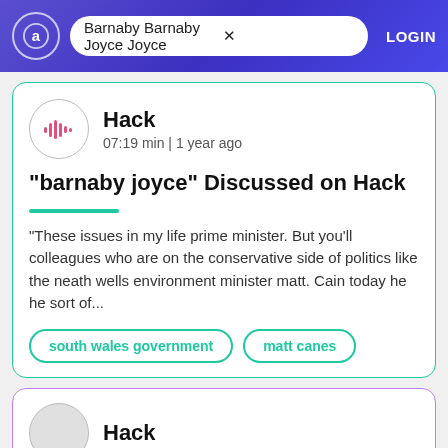Barnaby Barnaby Joyce Joyce | LOGIN
Hack
07:19 min | 1 year ago
"barnaby joyce" Discussed on Hack
"These issues in my life prime minister. But you'll colleagues who are on the conservative side of politics like the neath wells environment minister matt. Cain today he he sort of...
south wales government
matt canes
Hack